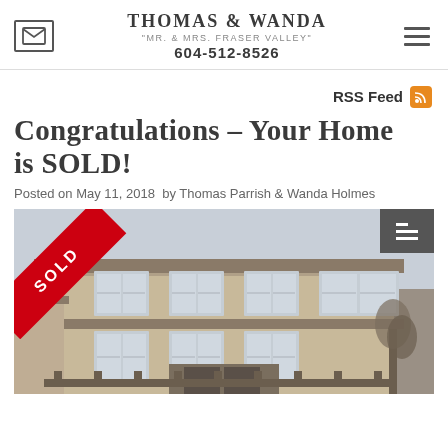THOMAS & WANDA "MR. & MRS. FRASER VALLEY" 604-512-8526
RSS Feed
Congratulations – Your Home is SOLD!
Posted on May 11, 2018  by Thomas Parrish & Wanda Holmes
[Figure (photo): Exterior photo of a two-storey residential house with a red diagonal SOLD banner in the upper-left corner. The house has beige/tan siding, large windows on multiple floors, and a covered entrance. A bare tree is visible on the right side.]